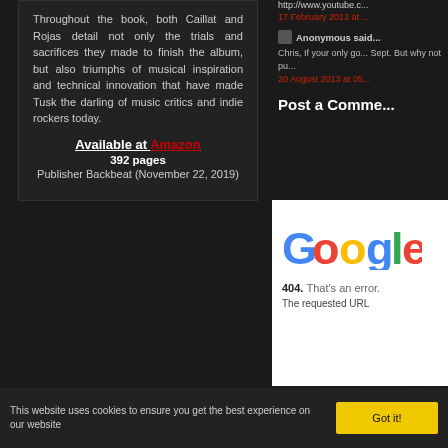Throughout the book, both Caillat and Rojas detail not only the trials and sacrifices they made to finish the album, but also triumphs of musical inspiration and technical innovation that have made Tusk the darling of music critics and indie rockers today.
Available at Amazon
392 pages
Publisher Backbeat (November 22, 2019)
http://www.youtube.c...
17 February 2013 at ...
Anonymous said...
Chris, If your only go... Sept. But why not pu...
20 August 2013 at 05...
Post a Comme...
[Figure (screenshot): Google 404 error page showing Google logo and '404. That's an error.' message with 'The requested URL' text.]
This website uses cookies to ensure you get the best experience on our website
Got it!